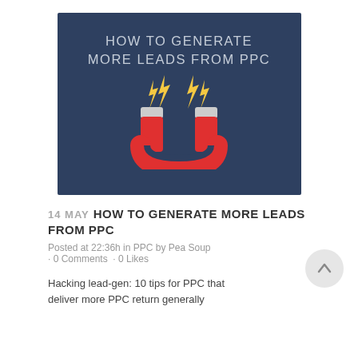[Figure (illustration): Dark blue banner image with text 'HOW TO GENERATE MORE LEADS FROM PPC' and a horseshoe magnet graphic with yellow lightning bolts above it]
14 MAY HOW TO GENERATE MORE LEADS FROM PPC
Posted at 22:36h in PPC by Pea Soup · 0 Comments · 0 Likes
Hacking lead-gen: 10 tips for PPC that deliver more PPC return generally